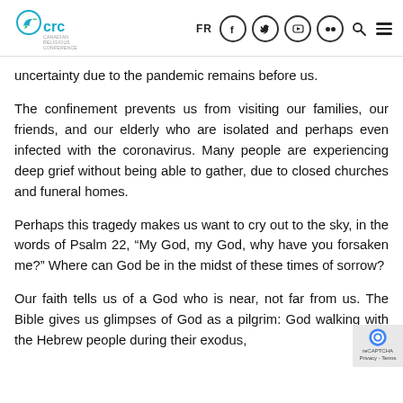CRC Canadian Religious Conference — FR [social nav icons] [search] [menu]
uncertainty due to the pandemic remains before us.
The confinement prevents us from visiting our families, our friends, and our elderly who are isolated and perhaps even infected with the coronavirus. Many people are experiencing deep grief without being able to gather, due to closed churches and funeral homes.
Perhaps this tragedy makes us want to cry out to the sky, in the words of Psalm 22, “My God, my God, why have you forsaken me?” Where can God be in the midst of these times of sorrow?
Our faith tells us of a God who is near, not far from us. The Bible gives us glimpses of God as a pilgrim: God walking with the Hebrew people during their exodus, God with them in Babylon, God encamping his...